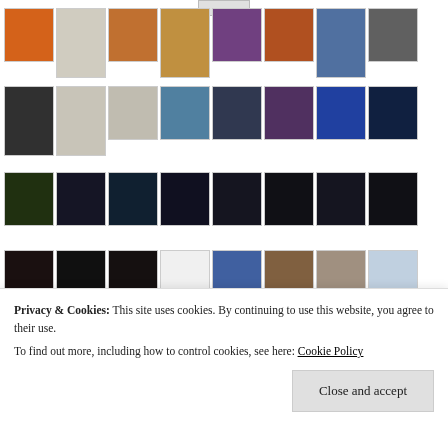[Figure (screenshot): Gallery thumbnail grid with 4 rows of photo thumbnails showing various subjects: artwork, people, fireworks, and cityscapes]
Privacy & Cookies: This site uses cookies. By continuing to use this website, you agree to their use.
To find out more, including how to control cookies, see here: Cookie Policy
Close and accept